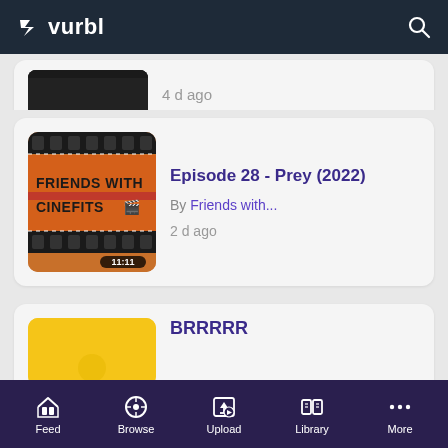vurbl
[Figure (screenshot): Partial podcast card showing thumbnail and '4 d ago' timestamp]
[Figure (screenshot): Podcast episode card: Episode 28 - Prey (2022), By Friends with..., 2 d ago, duration 11:11, Friends with Cinefits thumbnail]
Episode 28 - Prey (2022)
By Friends with...
2 d ago
[Figure (screenshot): Partial podcast card with yellow thumbnail, title BRRRRR]
BRRRRR
Feed  Browse  Upload  Library  More